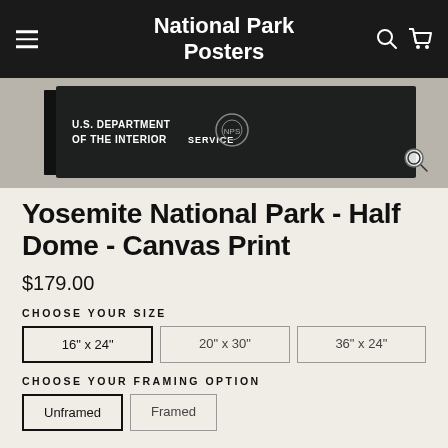National Park Posters
[Figure (photo): Product image showing a canvas print of Yosemite National Park - Half Dome, displayed at an angle with U.S. Department of the Interior National Park Service text visible on a dark background. A magnify/zoom icon is shown in the lower right corner of the image.]
Yosemite National Park - Half Dome - Canvas Print
$179.00
CHOOSE YOUR SIZE
16" x 24"
20" x 30"
36" x 24"
CHOOSE YOUR FRAMING OPTION
Unframed
Framed